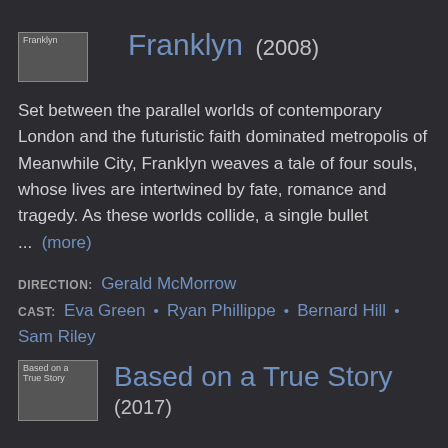[Figure (photo): Thumbnail image placeholder for Franklyn movie]
Franklyn (2008)
Set between the parallel worlds of contemporary London and the futuristic faith dominated metropolis of Meanwhile City, Franklyn weaves a tale of four souls, whose lives are intertwined by fate, romance and tragedy. As these worlds collide, a single bullet ... (more)
DIRECTION: Gerald McMorrow
CAST: Eva Green • Ryan Phillippe • Bernard Hill • Sam Riley
[Figure (photo): Thumbnail image placeholder for Based on a True Story movie]
Based on a True Story (2017)